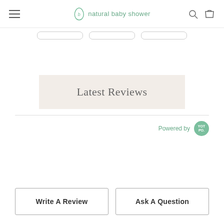natural baby shower
Latest Reviews
Powered by YOTPO
Write A Review
Ask A Question